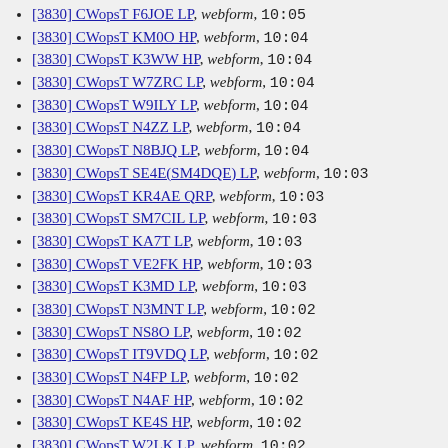[3830] CWopsT F6JOE LP, webform, 10:05
[3830] CWopsT KM0O HP, webform, 10:04
[3830] CWopsT K3WW HP, webform, 10:04
[3830] CWopsT W7ZRC LP, webform, 10:04
[3830] CWopsT W9ILY LP, webform, 10:04
[3830] CWopsT N4ZZ LP, webform, 10:04
[3830] CWopsT N8BJQ LP, webform, 10:04
[3830] CWopsT SE4E(SM4DQE) LP, webform, 10:03
[3830] CWopsT KR4AE QRP, webform, 10:03
[3830] CWopsT SM7CIL LP, webform, 10:03
[3830] CWopsT KA7T LP, webform, 10:03
[3830] CWopsT VE2FK HP, webform, 10:03
[3830] CWopsT K3MD LP, webform, 10:03
[3830] CWopsT N3MNT LP, webform, 10:02
[3830] CWopsT NS8O LP, webform, 10:02
[3830] CWopsT IT9VDQ LP, webform, 10:02
[3830] CWopsT N4FP LP, webform, 10:02
[3830] CWopsT N4AF HP, webform, 10:02
[3830] CWopsT KE4S HP, webform, 10:02
[3830] CWopsT W2LK LP, webform, 10:02
[3830] CWopsT K0TC LP, webform, 10:02
[3830] CWopsT N3HEE LP, webform, 10:02
[3830] CWopsT K6RB HP, webform, 10:01
[3830] CWopsT W6NF LP, webform, 10:01
[3830] CWopsT K1EBY LP, webform, 10:01